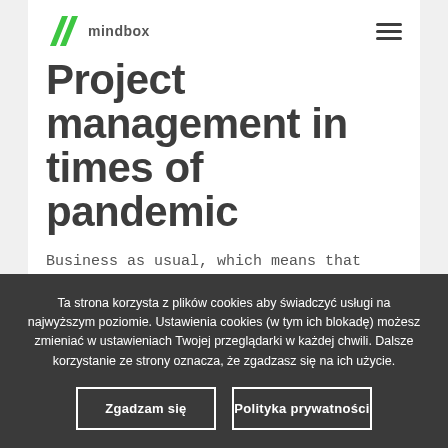Mindbox logo and hamburger menu
Project management in times of pandemic
Business as usual, which means that projects stay unchanged At the beginning of this year, we started preparations for the project of...
Ta strona korzysta z plików cookies aby świadczyć usługi na najwyższym poziomie. Ustawienia cookies (w tym ich blokadę) możesz zmieniać w ustawieniach Twojej przeglądarki w każdej chwili. Dalsze korzystanie ze strony oznacza, że zgadzasz się na ich użycie.
Zgadzam się | Polityka prywatności